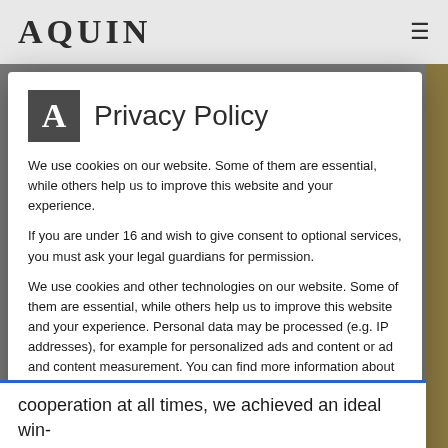AQUIN
Privacy Policy
We use cookies on our website. Some of them are essential, while others help us to improve this website and your experience.
If you are under 16 and wish to give consent to optional services, you must ask your legal guardians for permission.
We use cookies and other technologies on our website. Some of them are essential, while others help us to improve this website and your experience. Personal data may be processed (e.g. IP addresses), for example for personalized ads and content or ad and content measurement. You can find more information about the use of your data in our privacy policy. You can revoke or adjust your selection at any time under Settings.
Essential
External media
cooperation at all times, we achieved an ideal win-win result for all parties involved. With